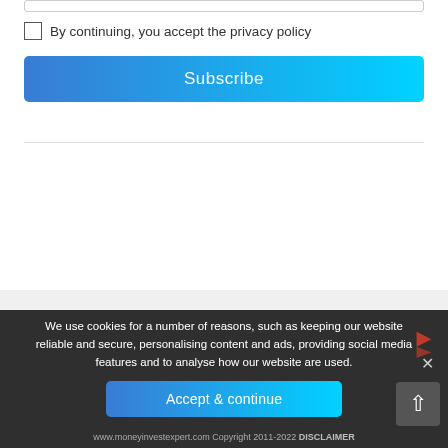By continuing, you accept the privacy policy
Subscribe
We use cookies for a number of reasons, such as keeping our website reliable and secure, personalising content and ads, providing social media features and to analyse how our website are used.
Accept & continue
www.moneyinvestexpert.com Copyright 2011-2022 DISCLAIMER